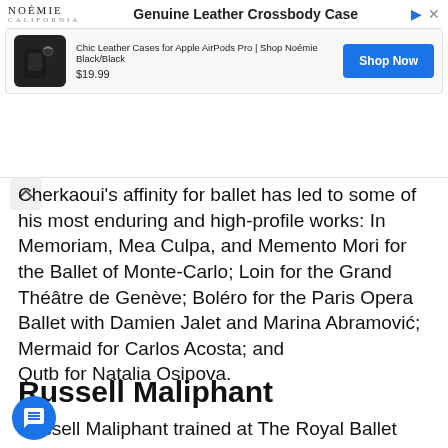[Figure (screenshot): Advertisement banner for Noémie California Genuine Leather Crossbody Case. Shows product image of a black leather AirPods case, text 'Chic Leather Cases for Apple AirPods Pro | Shop Noémie Black/Black', price '$19.99', and a 'Shop Now' button.]
Cherkaoui's affinity for ballet has led to some of his most enduring and high-profile works: In Memoriam, Mea Culpa, and Memento Mori for the Ballet of Monte-Carlo; Loin for the Grand Théâtre de Genève; Boléro for the Paris Opera Ballet with Damien Jalet and Marina Abramović; Mermaid for Carlos Acosta; and Qutb for Natalia Osipova.
Russell Maliphant
Russell Maliphant trained at The Royal Ballet School and graduated into Sadler's Wells Royal Ballet before choosing to explore a diverse range of movement.